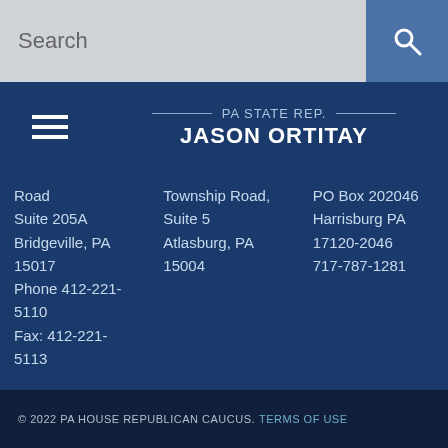Search
PA STATE REP. JASON ORTITAY
Road Suite 205A Bridgeville, PA 15017 Phone 412-221-5110 Fax: 412-221-5113
Township Road, Suite 5 Atlasburg, PA 15004
PO Box 202046 Harrisburg PA 17120-2046 717-787-1281
© 2022 PA HOUSE REPUBLICAN CAUCUS. TERMS OF USE